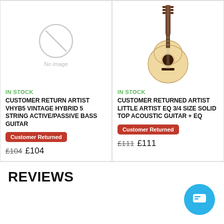[Figure (photo): No image placeholder with a circle icon and text 'No image']
IN STOCK
CUSTOMER RETURN ARTIST VHYB5 VINTAGE HYBRID 5 STRING ACTIVE/PASSIVE BASS GUITAR
Customer Returned
£104  £104
[Figure (photo): Photo of an acoustic guitar (Little Artist EQ 3/4 size)]
IN STOCK
CUSTOMER RETURNED ARTIST LITTLE ARTIST EQ 3/4 SIZE SOLID TOP ACOUSTIC GUITAR + EQ
Customer Returned
£111  £111
REVIEWS